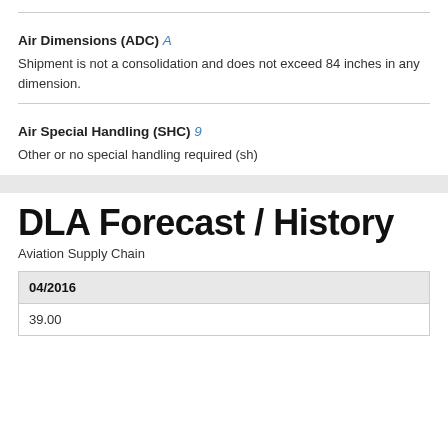Air Dimensions (ADC) A
Shipment is not a consolidation and does not exceed 84 inches in any dimension.
Air Special Handling (SHC) 9
Other or no special handling required (sh)
DLA Forecast / History
Aviation Supply Chain
| 04/2016 |
| --- |
| 39.00 |